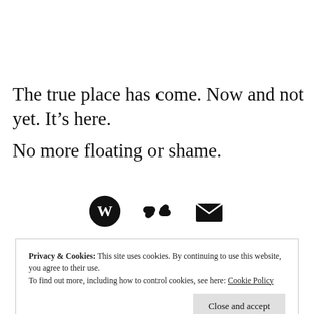The true place has come. Now and not yet. It’s here.
No more floating or shame.
[Figure (infographic): Three icons in a row: WordPress logo (circle with W), chain/link icon, and envelope/mail icon — all black]
Privacy & Cookies: This site uses cookies. By continuing to use this website, you agree to their use.
To find out more, including how to control cookies, see here: Cookie Policy
Close and accept